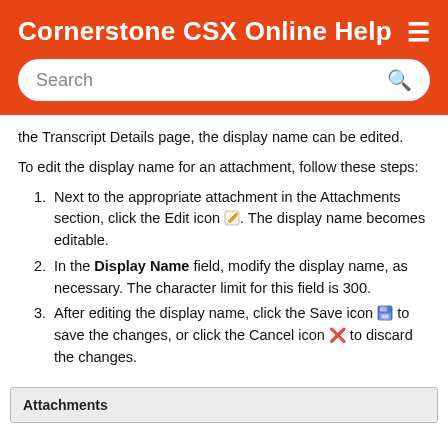Cornerstone CSX Online Help
the Transcript Details page, the display name can be edited.
To edit the display name for an attachment, follow these steps:
1. Next to the appropriate attachment in the Attachments section, click the Edit icon. The display name becomes editable.
2. In the Display Name field, modify the display name, as necessary. The character limit for this field is 300.
3. After editing the display name, click the Save icon to save the changes, or click the Cancel icon to discard the changes.
[Figure (screenshot): Attachments section panel at the bottom of the page]